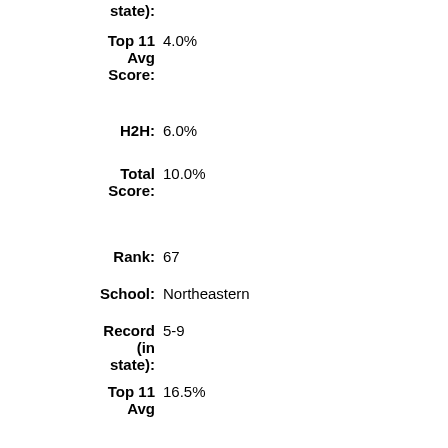state):
Top 11 Avg Score: 4.0%
H2H: 6.0%
Total Score: 10.0%
Rank: 67
School: Northeastern
Record (in state): 5-9
Top 11 Avg Score: 16.5%
H2H: -6.9%
Total Score: 9.7%